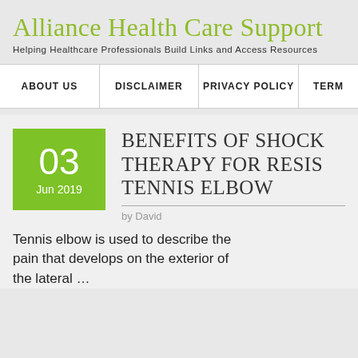Alliance Health Care Support
Helping Healthcare Professionals Build Links and Access Resources
ABOUT US | DISCLAIMER | PRIVACY POLICY | TERM…
BENEFITS OF SHOCK THERAPY FOR RESIST TENNIS ELBOW
by David
Tennis elbow is used to describe the pain that develops on the exterior of the lateral …